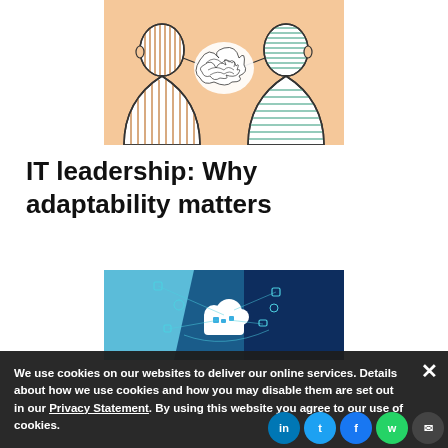[Figure (illustration): Two illustrated human silhouette heads facing each other on a peach/orange background. The left figure has vertical line hatching fill (orange/tan), the right figure has horizontal line hatching (teal/green). Between their mouths is a tangled scribble cloud shape representing complex communication or thought.]
IT leadership: Why adaptability matters
[Figure (illustration): Technology illustration on dark blue background showing a white cloud icon with connected app icons floating around it, representing cloud computing and hybrid IT services. Left side is lighter teal/sky blue.]
We use cookies on our websites to deliver our online services. Details about how we use cookies and how you may disable them are set out in our Privacy Statement. By using this website you agree to our use of cookies.